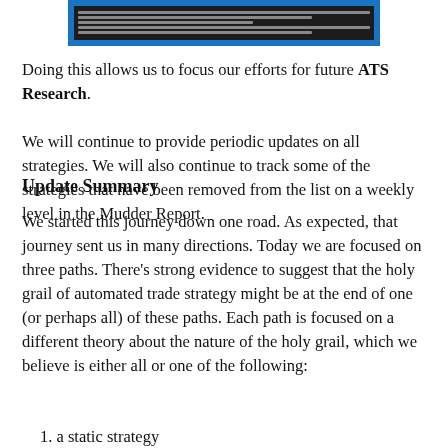[Figure (screenshot): Screenshot of a software interface with dark background and text lines, framed in blue]
Doing this allows us to focus our efforts for future ATS Research.
We will continue to provide periodic updates on all strategies. We will also continue to track some of the strategies that have been removed from the list on a weekly level in the Mudder Report.
Update Summary
We started this journey down one road. As expected, that journey sent us in many directions. Today we are focused on three paths. There’s strong evidence to suggest that the holy grail of automated trade strategy might be at the end of one (or perhaps all) of these paths. Each path is focused on a different theory about the nature of the holy grail, which we believe is either all or one of the following:
1. a static strategy